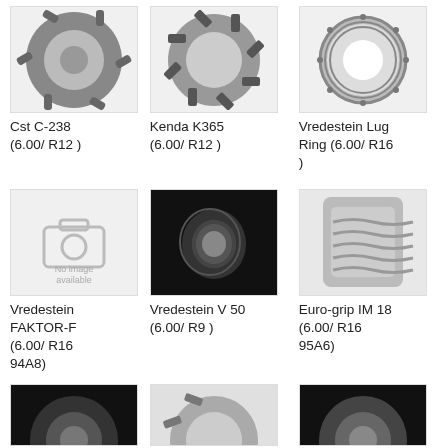[Figure (photo): Cst C-238 tractor tire, black and white photo]
Cst C-238 (6.00/ R12 )
[Figure (photo): Kenda K365 agricultural tire, black and white photo]
Kenda K365 (6.00/ R12 )
[Figure (photo): Vredestein Lug Ring tire, black and white photo]
Vredestein Lug Ring (6.00/ R16 )
[Figure (photo): No image available placeholder]
Vredestein FAKTOR-F (6.00/ R16 94A8)
[Figure (photo): Vredestein V 50 tire on black background, black and white photo]
Vredestein V 50 (6.00/ R9 )
[Figure (photo): Euro-grip IM 18 tire, gray photo]
Euro-grip IM 18 (6.00/ R16 95A6)
[Figure (photo): Partial tire image, black background]
[Figure (photo): Partial tire image]
[Figure (photo): Partial tire image, black background]